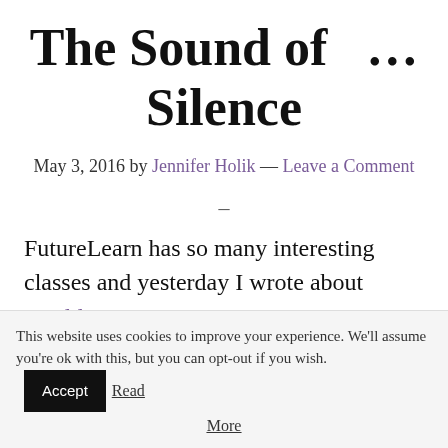The Sound of … Silence
May 3, 2016 by Jennifer Holik — Leave a Comment
–
FutureLearn has so many interesting classes and yesterday I wrote about World War I: A
This website uses cookies to improve your experience. We'll assume you're ok with this, but you can opt-out if you wish. Accept Read More